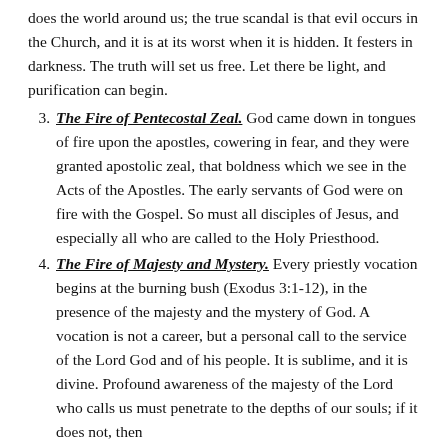does the world around us; the true scandal is that evil occurs in the Church, and it is at its worst when it is hidden. It festers in darkness. The truth will set us free. Let there be light, and purification can begin.
3. The Fire of Pentecostal Zeal. God came down in tongues of fire upon the apostles, cowering in fear, and they were granted apostolic zeal, that boldness which we see in the Acts of the Apostles. The early servants of God were on fire with the Gospel. So must all disciples of Jesus, and especially all who are called to the Holy Priesthood.
4. The Fire of Majesty and Mystery. Every priestly vocation begins at the burning bush (Exodus 3:1-12), in the presence of the majesty and the mystery of God. A vocation is not a career, but a personal call to the service of the Lord God and of his people. It is sublime, and it is divine. Profound awareness of the majesty of the Lord who calls us must penetrate to the depths of our souls; if it does not, then